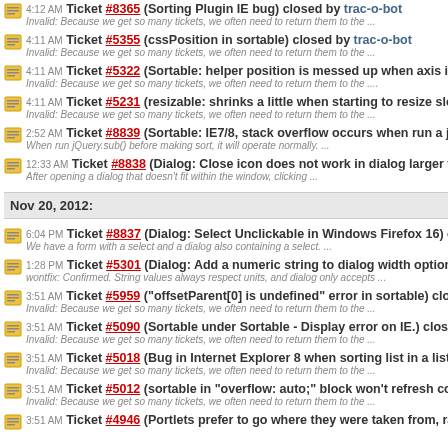4:12 AM Ticket #8365 (Sorting Plugin IE bug) closed by trac-o-bot
Invalid: Because we get so many tickets, we often need to return them to the ...
4:11 AM Ticket #5355 (cssPosition in sortable) closed by trac-o-bot
Invalid: Because we get so many tickets, we often need to return them to the ...
4:11 AM Ticket #5322 (Sortable: helper position is messed up when axis is used) closed by
Invalid: Because we get so many tickets, we often need to return them to the ....
4:11 AM Ticket #5231 (resizable: shrinks a little when starting to resize slowly in IE8) closed
Invalid: Because we get so many tickets, we often need to return them to the ...
2:52 AM Ticket #8839 (Sortable: IE7/8, stack overflow occurs when run a jQuery.sub after ...
When run jQuery.sub() before making sort, it will operate normally. ...
12:33 AM Ticket #8838 (Dialog: Close icon does not work in dialog larger than the window i
After opening a dialog that doesn't fit within the window, clicking ...
Nov 20, 2012:
6:04 PM Ticket #8837 (Dialog: Select Unclickable in Windows Firefox 16) created by dmado
We have a form with a select and a dialog also containing a select. ...
1:28 PM Ticket #5301 (Dialog: Add a numeric string to dialog width option) closed by Scott G
wontfix: Confirmed. String values always respect units, and dialog only accepts ...
3:51 AM Ticket #5959 ("offsetParent[0] is undefined" error in sortable) closed by trac-o-bot
Invalid: Because we get so many tickets, we often need to return them to the ...
3:51 AM Ticket #5090 (Sortable under Sortable - Display error on IE.) closed by trac-o-bot
Invalid: Because we get so many tickets, we often need to return them to the ...
3:51 AM Ticket #5018 (Bug in Internet Explorer 8 when sorting list in a list) closed by trac-o-
Invalid: Because we get so many tickets, we often need to return them to the ...
3:51 AM Ticket #5012 (sortable in "overflow: auto;" block won't refresh connectedList's ...) c
Invalid: Because we get so many tickets, we often need to return them to the ...
3:51 AM Ticket #4946 (Portlets prefer to go where they were taken from, rather than where